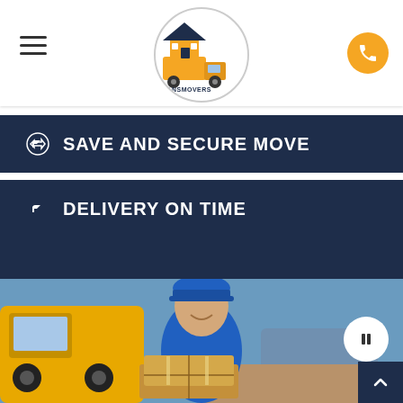Transmovers logo and navigation header
SAVE AND SECURE MOVE
DELIVERY ON TIME
[Figure (photo): Smiling delivery man in blue uniform and cap holding cardboard boxes, with yellow vans in background]